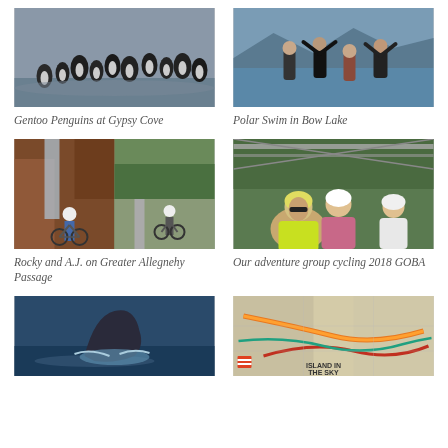[Figure (photo): Gentoo penguins gathered on a rocky shore by the water]
Gentoo Penguins at Gypsy Cove
[Figure (photo): People standing in a lake doing a polar swim, raising arms]
Polar Swim in Bow Lake
[Figure (photo): Rocky and A.J. on bikes on the Greater Allegheny Passage trail, near a waterfall and red rock wall]
Rocky and A.J. on Greater Allegnehy Passage
[Figure (photo): Group of cyclists posing together at 2018 GOBA event, wearing helmets and cycling gear]
Our adventure group cycling 2018 GOBA
[Figure (photo): A whale breaching the surface of dark blue water]
[Figure (map): Road/trail map showing Island in the Sky area with colored route lines]